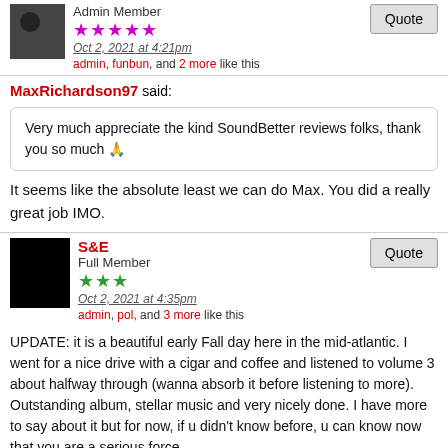Admin Member
★★★★★
Oct 2, 2021 at 4:21pm
admin, funbun, and 2 more like this
MaxRichardson97 said:
Very much appreciate the kind SoundBetter reviews folks, thank you so much 🙏
It seems like the absolute least we can do Max. You did a really great job IMO.
S&E
Full Member
★★★
Oct 2, 2021 at 4:35pm
admin, pol, and 3 more like this
UPDATE: it is a beautiful early Fall day here in the mid-atlantic. I went for a nice drive with a cigar and coffee and listened to volume 3 about halfway through (wanna absorb it before listening to more). Outstanding album, stellar music and very nicely done. I have more to say about it but for now, if u didn't know before, u can know now that you are a serious force.
maydonpoliris
Admin Member
★★★★★
Oct 2, 2021 at 10:10pm